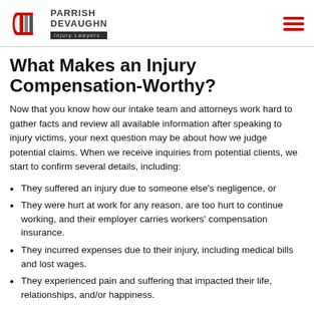Parrish DeVaughn Injury Lawyers
What Makes an Injury Compensation-Worthy?
Now that you know how our intake team and attorneys work hard to gather facts and review all available information after speaking to injury victims, your next question may be about how we judge potential claims. When we receive inquiries from potential clients, we start to confirm several details, including:
They suffered an injury due to someone else's negligence, or
They were hurt at work for any reason, are too hurt to continue working, and their employer carries workers' compensation insurance.
They incurred expenses due to their injury, including medical bills and lost wages.
They experienced pain and suffering that impacted their life, relationships, and/or happiness.